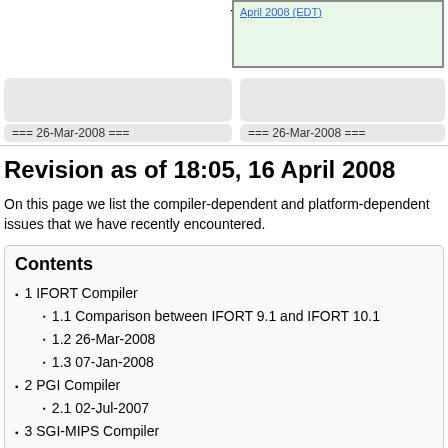[Figure (screenshot): Top portion showing wiki diff view with green box containing a link referencing April 2008 (EDT), two gray placeholder boxes, and two date labels showing === 26-Mar-2008 ===]
Revision as of 18:05, 16 April 2008
On this page we list the compiler-dependent and platform-dependent issues that we have recently encountered.
Contents
1 IFORT Compiler
1.1 Comparison between IFORT 9.1 and IFORT 10.1
1.2 26-Mar-2008
1.3 07-Jan-2008
2 PGI Compiler
2.1 02-Jul-2007
3 SGI-MIPS Compiler